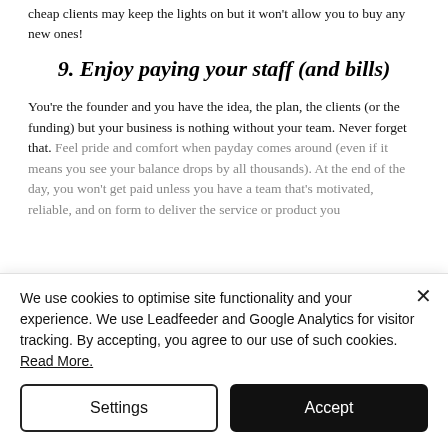cheap clients may keep the lights on but it won't allow you to buy any new ones!
9. Enjoy paying your staff (and bills)
You're the founder and you have the idea, the plan, the clients (or the funding) but your business is nothing without your team. Never forget that. Feel pride and comfort when payday comes around (even if it means you see your balance drops by all thousands). At the end of the day, you won't get paid unless you have a team that's motivated, reliable, and on form to deliver the service or product you
We use cookies to optimise site functionality and your experience. We use Leadfeeder and Google Analytics for visitor tracking. By accepting, you agree to our use of such cookies. Read More.